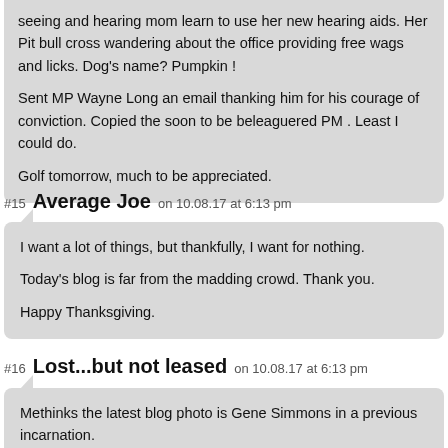seeing and hearing mom learn to use her new hearing aids. Her Pit bull cross wandering about the office providing free wags and licks. Dog's name? Pumpkin !
Sent MP Wayne Long an email thanking him for his courage of conviction. Copied the soon to be beleaguered PM . Least I could do.
Golf tomorrow, much to be appreciated.
#15  Average Joe  on 10.08.17 at 6:13 pm
I want a lot of things, but thankfully, I want for nothing.
Today's blog is far from the madding crowd. Thank you.
Happy Thanksgiving.
#16  Lost...but not leased  on 10.08.17 at 6:13 pm
Methinks the latest blog photo is Gene Simmons in a previous incarnation.